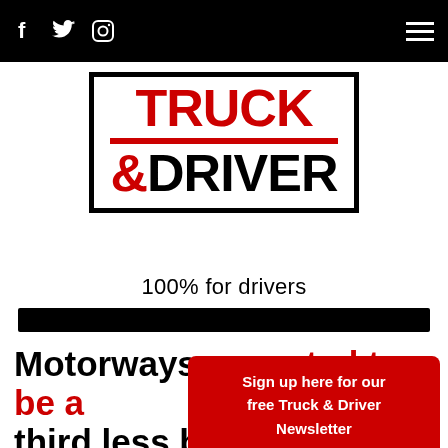f [twitter] [instagram] [hamburger menu]
[Figure (logo): Truck & Driver magazine logo with red TRUCK text, black &DRIVER text, red horizontal divider line inside a black rectangular border. Tagline: 100% for drivers]
100% for drivers
Motorways expected to be a third less busy tomorrow evening as people watch
Sign up here for our free Truck & Driver Newsletter